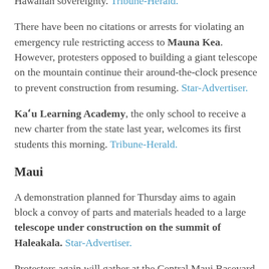at least for now, away from the stalled Thirty Meter Telescope project and toward issues of jurisdiction and Hawaiian sovereignty. Tribune-Herald.
There have been no citations or arrests for violating an emergency rule restricting access to Mauna Kea. However, protesters opposed to building a giant telescope on the mountain continue their around-the-clock presence to prevent construction from resuming. Star-Advertiser.
Kaʻu Learning Academy, the only school to receive a new charter from the state last year, welcomes its first students this morning. Tribune-Herald.
Maui
A demonstration planned for Thursday aims to again block a convoy of parts and materials headed to a large telescope under construction on the summit of Haleakala. Star-Advertiser.
Protesters again will gather at the Central Maui Baseyard in